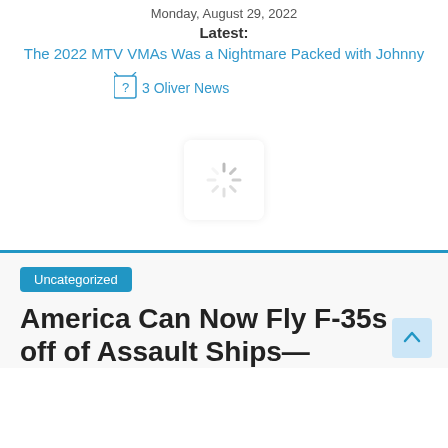Monday, August 29, 2022
Latest:
The 2022 MTV VMAs Was a Nightmare Packed with Johnny
[Figure (logo): 3 Oliver News logo placeholder image with broken image icon and text]
[Figure (other): Loading spinner animation in a rounded white box]
Uncategorized
America Can Now Fly F-35s off of Assault Ships—